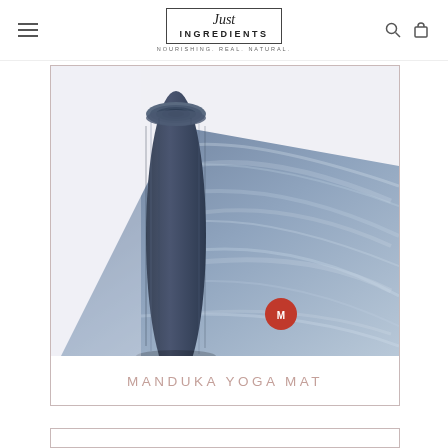Just Ingredients — NOURISHING. REAL. NATURAL.
[Figure (photo): A rolled Manduka yoga mat in dark blue/grey marble pattern, showing the textured surface with white marbled streaks and the Manduka logo badge in red]
MANDUKA YOGA MAT